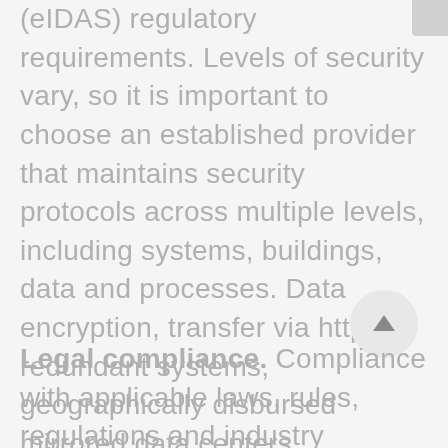(eIDAS) regulatory requirements. Levels of security vary, so it is important to choose an established provider that maintains security protocols across multiple levels, including systems, buildings, data and processes. Data encryption, transfer via https, redundant systems, geographically disbursed mirrored data centers, commercial grade firewalls, malware protection, physical access control and monitored video surveillance all are strongly recommended.
Legal compliance. Compliance with applicable laws, rules, regulations and industry standards governing electronic transactions